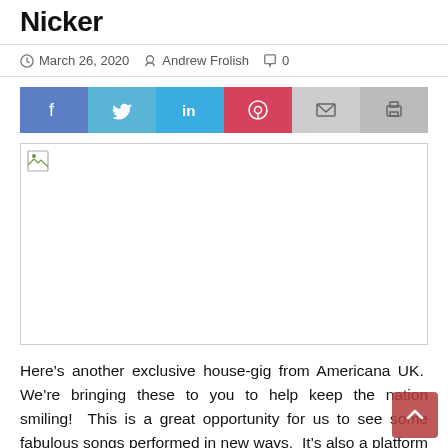Nicker
March 26, 2020   Andrew Frolish   0
[Figure (infographic): Social media share buttons: Facebook, Twitter, LinkedIn, Pinterest, Email, Print]
[Figure (photo): Broken image placeholder with small image icon in top-left corner]
Here’s another exclusive house-gig from Americana UK.  We’re bringing these to you to help keep the nation smiling!  This is a great opportunity for us to see some fabulous songs performed in new ways.  It’s also a platform for artists who are